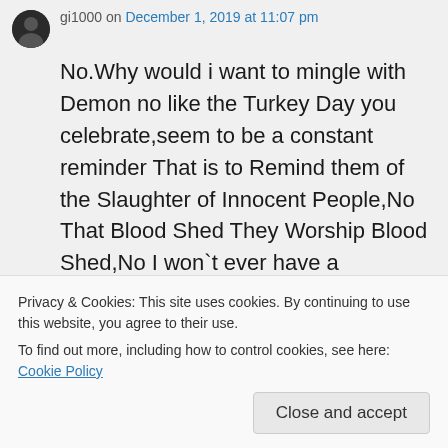gi1000 on December 1, 2019 at 11:07 pm
No.Why would i want to mingle with Demon no like the Turkey Day you celebrate,seem to be a constant reminder That is to Remind them of the Slaughter of Innocent People,No That Blood Shed They Worship Blood Shed,No I won`t ever have a Thanksgiving FOR MURDERERS.God Do Not Want Us
Privacy & Cookies: This site uses cookies. By continuing to use this website, you agree to their use.
To find out more, including how to control cookies, see here: Cookie Policy
Close and accept